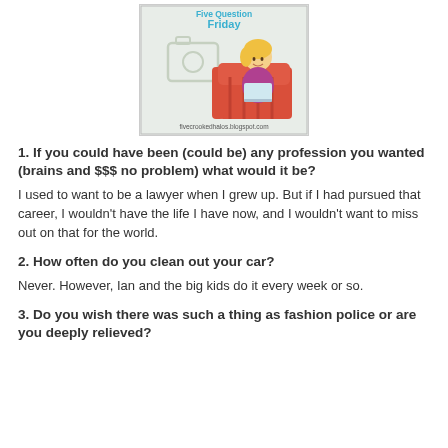[Figure (illustration): Five Question Friday blog badge showing a cartoon blonde woman sitting in a red armchair with text 'Five Question Friday' and URL 'fivecrookedhalos.blogspot.com']
1. If you could have been (could be) any profession you wanted (brains and $$$ no problem) what would it be?
I used to want to be a lawyer when I grew up. But if I had pursued that career, I wouldn't have the life I have now, and I wouldn't want to miss out on that for the world.
2. How often do you clean out your car?
Never. However, Ian and the big kids do it every week or so.
3. Do you wish there was such a thing as fashion police or are you deeply relieved?